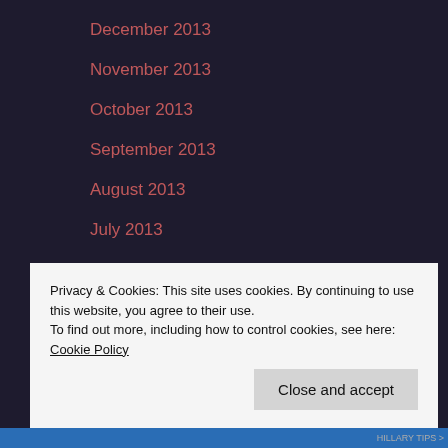December 2013
November 2013
October 2013
September 2013
August 2013
July 2013
Categories
geek
Privacy & Cookies: This site uses cookies. By continuing to use this website, you agree to their use.
To find out more, including how to control cookies, see here: Cookie Policy
Close and accept